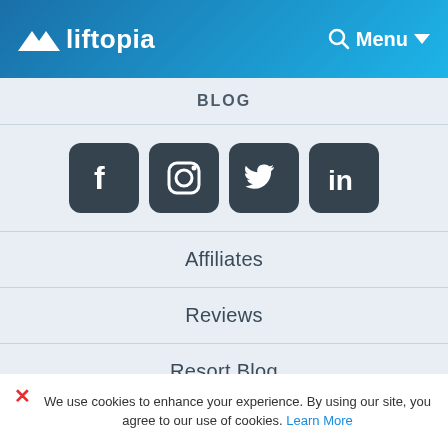liftopia — Menu
BLOG
[Figure (infographic): Social media icons: Facebook, Instagram, Twitter, LinkedIn — dark rounded square icons]
Affiliates
Reviews
Resort Blog
💬 1-415-212-5777
👥 Help Center
We use cookies to enhance your experience. By using our site, you agree to our use of cookies. Learn More